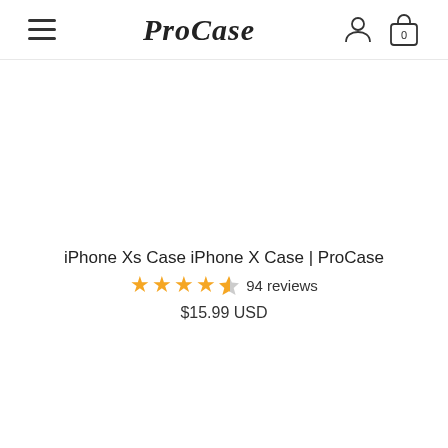ProCase
iPhone Xs Case iPhone X Case | ProCase
94 reviews
$15.99 USD